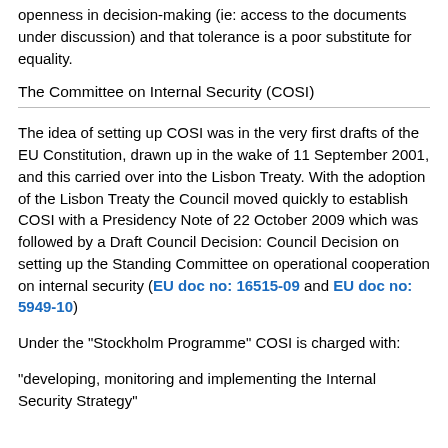openness in decision-making (ie: access to the documents under discussion) and that tolerance is a poor substitute for equality.
The Committee on Internal Security (COSI)
The idea of setting up COSI was in the very first drafts of the EU Constitution, drawn up in the wake of 11 September 2001, and this carried over into the Lisbon Treaty. With the adoption of the Lisbon Treaty the Council moved quickly to establish COSI with a Presidency Note of 22 October 2009 which was followed by a Draft Council Decision: Council Decision on setting up the Standing Committee on operational cooperation on internal security (EU doc no: 16515-09 and EU doc no: 5949-10)
Under the "Stockholm Programme" COSI is charged with:
"developing, monitoring and implementing the Internal Security Strategy"